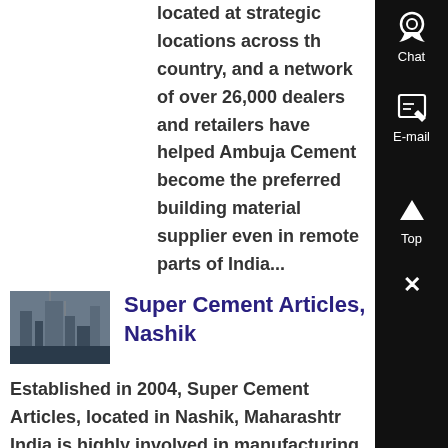located at strategic locations across the country, and a network of over 26,000 dealers and retailers have helped Ambuja Cement become the preferred building material supplier even in remote parts of India...
[Figure (photo): Industrial facility or cement plant photo]
Super Cement Articles, Nashik
Established in 2004, Super Cement Articles, located in Nashik, Maharashtra India is highly involved in manufacturing, trading and supplying Readymade Compound Wall, Chamber Covers and RCC ProductsThe product